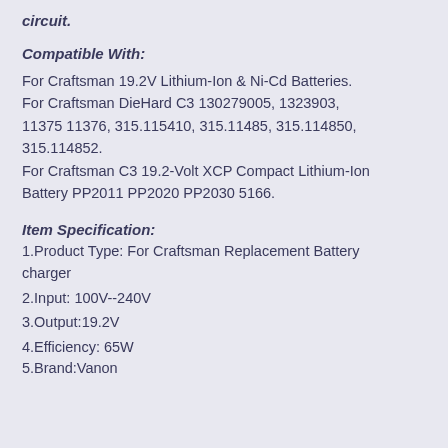circuit.
Compatible With:
For Craftsman 19.2V Lithium-Ion & Ni-Cd Batteries.
For Craftsman DieHard C3 130279005, 1323903, 11375 11376, 315.115410, 315.11485, 315.114850, 315.114852.
For Craftsman C3 19.2-Volt XCP Compact Lithium-Ion Battery PP2011 PP2020 PP2030 5166.
Item Specification:
1.Product Type: For Craftsman Replacement Battery charger
2.Input: 100V--240V
3.Output:19.2V
4.Efficiency: 65W
5.Brand:Vanon